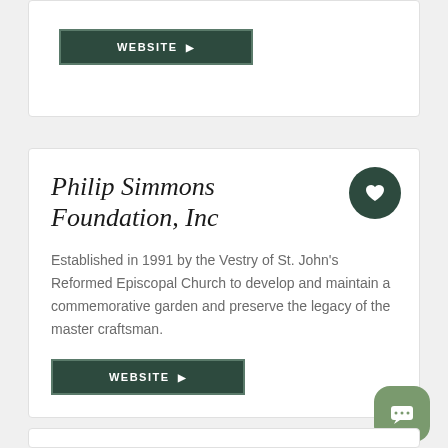[Figure (other): WEBSITE button with arrow in dark green with border, partial card at top]
Philip Simmons Foundation, Inc
Established in 1991 by the Vestry of St. John's Reformed Episcopal Church to develop and maintain a commemorative garden and preserve the legacy of the master craftsman.
[Figure (other): WEBSITE button with arrow in dark green with border]
[Figure (other): Chat bubble icon in muted green rounded square button]